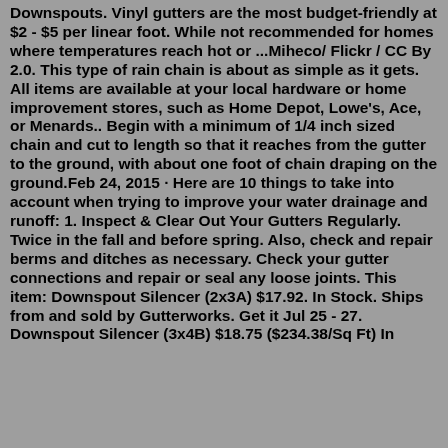Downspouts. Vinyl gutters are the most budget-friendly at $2 - $5 per linear foot. While not recommended for homes where temperatures reach hot or ...Miheco/ Flickr / CC By 2.0. This type of rain chain is about as simple as it gets. All items are available at your local hardware or home improvement stores, such as Home Depot, Lowe's, Ace, or Menards.. Begin with a minimum of 1/4 inch sized chain and cut to length so that it reaches from the gutter to the ground, with about one foot of chain draping on the ground.Feb 24, 2015 · Here are 10 things to take into account when trying to improve your water drainage and runoff: 1. Inspect & Clear Out Your Gutters Regularly. Twice in the fall and before spring. Also, check and repair berms and ditches as necessary. Check your gutter connections and repair or seal any loose joints. This item: Downspout Silencer (2x3A) $17.92. In Stock. Ships from and sold by Gutterworks. Get it Jul 25 - 27. Downspout Silencer (3x4B) $18.75 ($234.38/Sq Ft) In